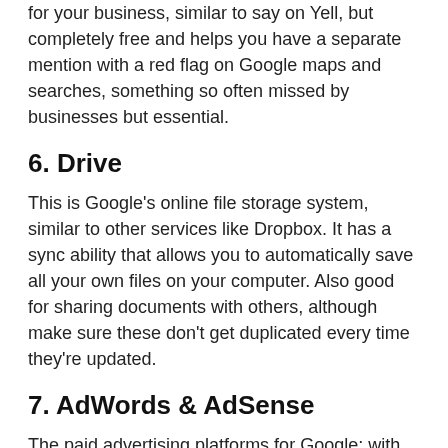for your business, similar to say on Yell, but completely free and helps you have a separate mention with a red flag on Google maps and searches, something so often missed by businesses but essential.
6. Drive
This is Google's online file storage system, similar to other services like Dropbox. It has a sync ability that allows you to automatically save all your own files on your computer. Also good for sharing documents with others, although make sure these don't get duplicated every time they're updated.
7. AdWords & AdSense
The paid advertising platforms for Google; with AdWords you pay Google to show your advert on search results or other sites, and with AdSense you received an income for Google using your site as a platform to have AdWords for others. These were the bee's knees 10 years ago, and although not so easily profitable now with more competition